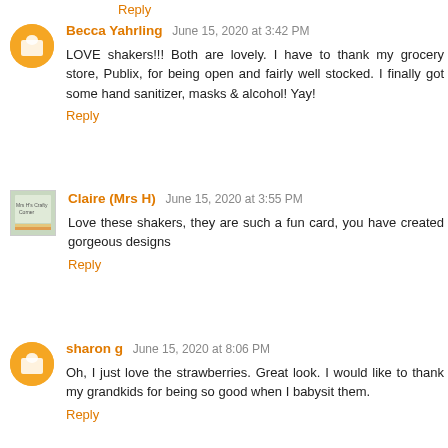Reply
Becca Yahrling June 15, 2020 at 3:42 PM
LOVE shakers!!! Both are lovely. I have to thank my grocery store, Publix, for being open and fairly well stocked. I finally got some hand sanitizer, masks & alcohol! Yay!
Reply
Claire (Mrs H) June 15, 2020 at 3:55 PM
Love these shakers, they are such a fun card, you have created gorgeous designs
Reply
sharon g June 15, 2020 at 8:06 PM
Oh, I just love the strawberries. Great look. I would like to thank my grandkids for being so good when I babysit them.
Reply